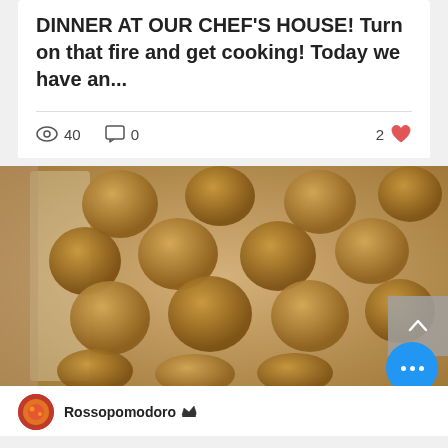DINNER AT OUR CHEF'S HOUSE! Turn on that fire and get cooking! Today we have an...
40 views · 0 comments · 2 likes
[Figure (photo): Tray of breaded food balls (arancini or similar) arranged on parchment paper on a baking tray, viewed from above]
Rossopomodoro (crown icon)